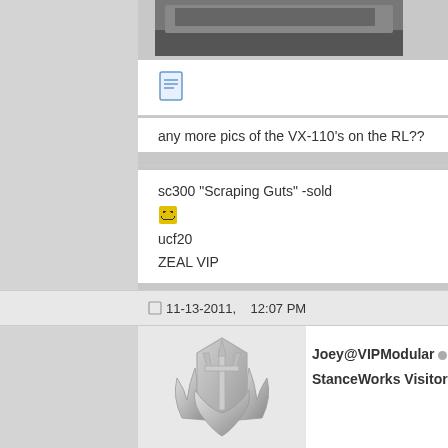[Figure (photo): Partial view of a car photo at top of page]
[Figure (illustration): Document/quote icon (blue notebook icon)]
any more pics of the VX-110's on the RL??
sc300 "Scraping Guts" -sold
[smiling emoji]
ucf20
ZEAL VIP
11-13-2011,    12:07 PM
[Figure (logo): VIPModular silver trident/shield logo avatar]
Joey@VIPModular
StanceWorks Visitor